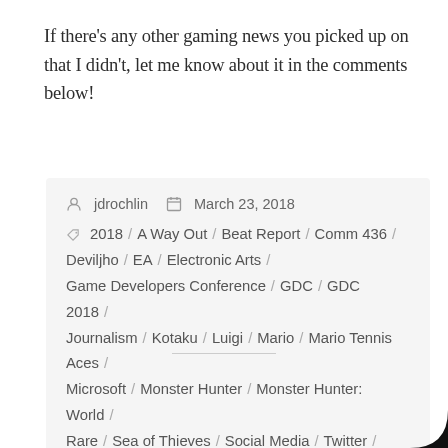If there’s any other gaming news you picked up on that I didn’t, let me know about it in the comments below!
jdrochlin   March 23, 2018
2018 / A Way Out / Beat Report / Comm 436 / Deviljho / EA / Electronic Arts / Game Developers Conference / GDC / GDC 2018 / Journalism / Kotaku / Luigi / Mario / Mario Tennis Aces / Microsoft / Monster Hunter / Monster Hunter: World / Rare / Sea of Thieves / Social Media / Twitter / Video Games